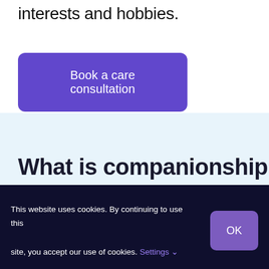interests and hobbies.
Book a care consultation
What is companionship
This website uses cookies. By continuing to use this site, you accept our use of cookies. Settings ˅
OK